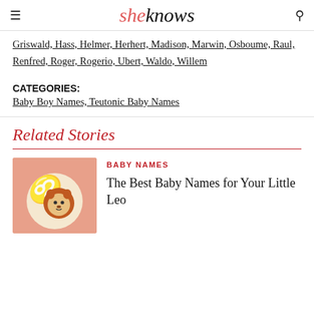sheknows
Griswald, Hass, Helmer, Herhert, Madison, Marwin, Osboume, Raul, Renfred, Roger, Rogerio, Ubert, Waldo, Willem
CATEGORIES: Baby Boy Names, Teutonic Baby Names
Related Stories
[Figure (illustration): Leo zodiac illustration with a cartoon lion cub and Leo symbol on a pink/salmon background]
BABY NAMES
The Best Baby Names for Your Little Leo